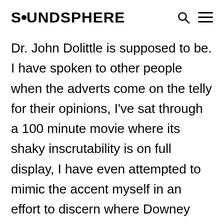SOUNDSPHERE
Dr. John Dolittle is supposed to be. I have spoken to other people when the adverts come on the telly for their opinions, I've sat through a 100 minute movie where its shaky inscrutability is on full display, I have even attempted to mimic the accent myself in an effort to discern where Downey thinks its point of origin is supposed to be and I'm still drawing a blank.  I think it's meant to be Welsh?  But